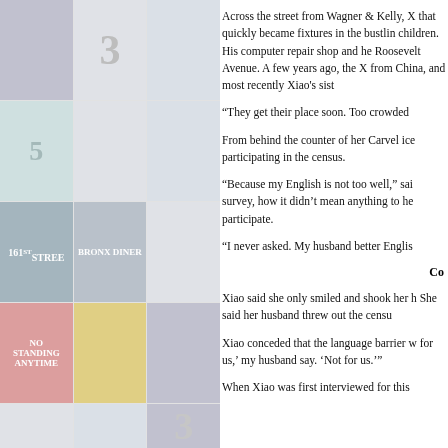[Figure (photo): A collage of neighborhood street photos arranged in a grid, showing storefronts, street signs, numbers, and urban scenes in muted tones]
Across the street from Wagner & Kelly, X that quickly became fixtures in the bustlin children. His computer repair shop and he Roosevelt Avenue. A few years ago, the X from China, and most recently Xiao's sist
“They get their place soon. Too crowded
From behind the counter of her Carvel ice participating in the census.
“Because my English is not too well,” sai survey, how it didn’t mean anything to he participate.
“I never asked. My husband better Englis
Co
Xiao said she only smiled and shook her h She said her husband threw out the censu
Xiao conceded that the language barrier w for us,’ my husband say. ‘Not for us.’”
When Xiao was first interviewed for this